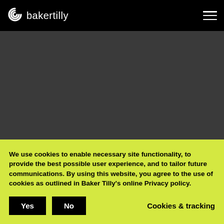[Figure (logo): Baker Tilly logo with spiral icon and wordmark 'bakertilly' in white on black background, with hamburger menu icon on the right]
[Figure (photo): Dark gray background area, appears to be a dimmed webpage hero image area]
We use cookies to enable necessary site functionality, to provide the best possible user experience, and to tailor future communications. By using this website, you agree to the use of cookies as outlined in Baker Tilly's online Privacy policy.
Yes
No
Cookies & tracking